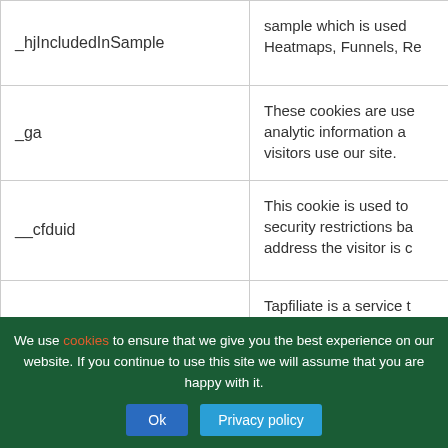| Cookie Name | Description |
| --- | --- |
| _hjIncludedInSample | sample which is used Heatmaps, Funnels, Re |
| _ga | These cookies are used analytic information a visitors use our site. |
| __cfduid | This cookie is used to security restrictions ba address the visitor is c |
| tap_vid | Tapfiliate is a service t to track when a visitor has been invited by a p Given a lot of our visit referrals this helps us wider audience. |
|  | WixPro is to ht |
We use cookies to ensure that we give you the best experience on our website. If you continue to use this site we will assume that you are happy with it.
Ok
Privacy policy